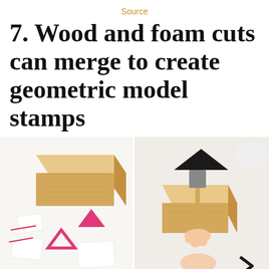Source
7. Wood and foam cuts can merge to create geometric model stamps
[Figure (photo): Two-panel photo: left panel shows a wooden block and pink foam cutout triangles on a white surface; right panel shows hands pressing a wood block stamp with a black triangle foam piece using a brush, with more stamps visible.]
[Figure (photo): Bottom partial panel showing a close-up of hands working with a wooden block, partially visible.]